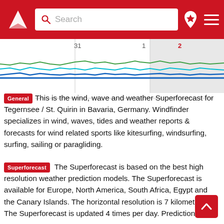[Figure (screenshot): Windfinder website navigation bar with logo, search box, location pin icon, and hamburger menu on red background]
[Figure (line-chart): Wind/wave forecast chart showing multiple colored lines (blue, cyan, green) across dates 31, 1, 2 with day 2 highlighted in grey]
General  This is the wind, wave and weather Superforecast for Tegernsee / St. Quirin in Bavaria, Germany. Windfinder specializes in wind, waves, tides and weather reports & forecasts for wind related sports like kitesurfing, windsurfing, surfing, sailing or paragliding.
Superforecast  The Superforecast is based on the best high resolution weather prediction models. The Superforecast is available for Europe, North America, South Africa, Egypt and the Canary Islands. The horizontal resolution is 7 kilometers. The Superforecast is updated 4 times per day. Predictions are available in time steps of 1 hour for up to 3 days into the future. Forecast and Superforecast are based on different physical models and therefore may cause divergent predictions. Due to its higher horizontal resolution the Superforecast tends to be more accurate especially for locations with a complex topography and local thermal effects. The arrows point in the direction in which the wind